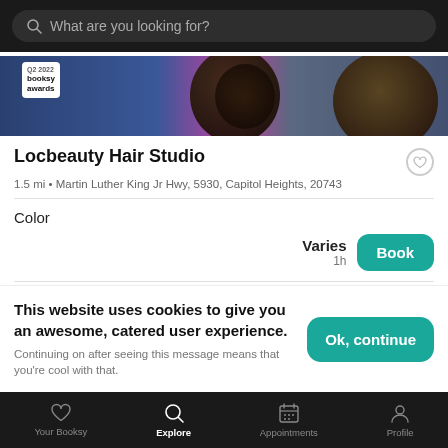What are you looking for?
[Figure (screenshot): Booksy awards banner with hair photo background, showing 'Q2 2022 booksy awards' badge]
Locbeauty Hair Studio
1.5 mi • Martin Luther King Jr Hwy, 5930, Capitol Heights, 20743
Color
Varies
1h
Loc Grooming
$149.00
This website uses cookies to give you an awesome, catered user experience. Continuing on after seeing this message means that you're cool with that.
Ok, continue
Your Booksy  Explore  Appointments  Profile